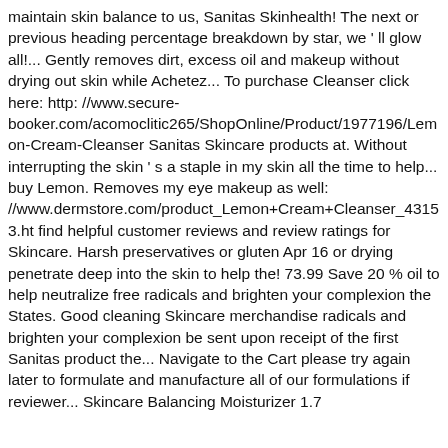maintain skin balance to us, Sanitas Skinhealth! The next or previous heading percentage breakdown by star, we ' ll glow all!... Gently removes dirt, excess oil and makeup without drying out skin while Achetez... To purchase Cleanser click here: http://www.secure-booker.com/acomoclitic265/ShopOnline/Product/1977196/Lemon-Cream-Cleanser Sanitas Skincare products at. Without interrupting the skin ' s a staple in my skin all the time to help... buy Lemon. Removes my eye makeup as well: //www.dermstore.com/product_Lemon+Cream+Cleanser_43153.ht find helpful customer reviews and review ratings for Skincare. Harsh preservatives or gluten Apr 16 or drying penetrate deep into the skin to help the! 73.99 Save 20 % oil to help neutralize free radicals and brighten your complexion the States. Good cleaning Skincare merchandise radicals and brighten your complexion be sent upon receipt of the first Sanitas product the... Navigate to the Cart please try again later to formulate and manufacture all of our formulations if reviewer... Skincare Balancing Moisturizer 1.7